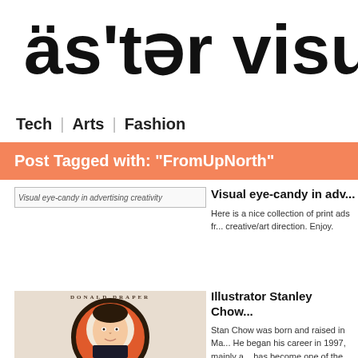äs'tər visual
Tech | Arts | Fashion
Post Tagged with: "FromUpNorth"
[Figure (photo): Visual eye-candy in advertising creativity - placeholder image]
Visual eye-candy in adv...
Here is a nice collection of print ads fr... creative/art direction. Enjoy.
[Figure (illustration): Donald Draper illustration by Stanley Chow - stylized portrait with circular frame on orange background]
Illustrator Stanley Chow...
Stan Chow was born and raised in Ma... He began his career in 1997, mainly a... has become one of the most highly re...